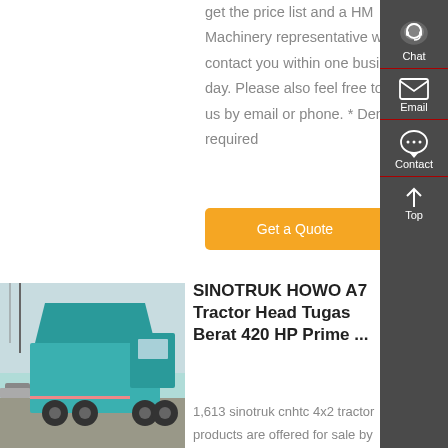get the price list and a HM Machinery representative will contact you within one business day. Please also feel free to contact us by email or phone. * Denotes a required
Get a Quote
[Figure (photo): Photo of a teal/cyan SINOTRUK HOWO dump truck viewed from the rear-left side, parked on a road with trees and utility poles in the background.]
SINOTRUK HOWO A7 Tractor Head Tugas Berat 420 HP Prime ...
1,613 sinotruk cnhtc 4x2 tractor products are offered for sale by